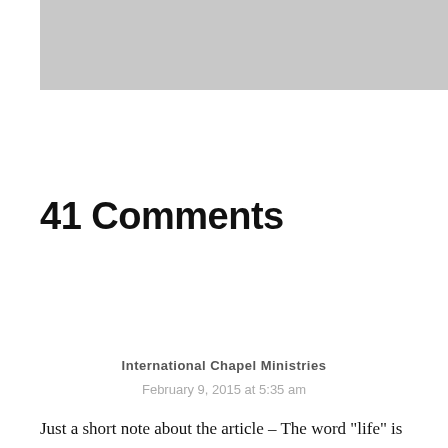[Figure (other): Gray banner/header area with a small right arrow symbol centered]
41 Comments
International Chapel Ministries
February 9, 2015 at 5:35 am
Just a short note about the article – The word “life” is a